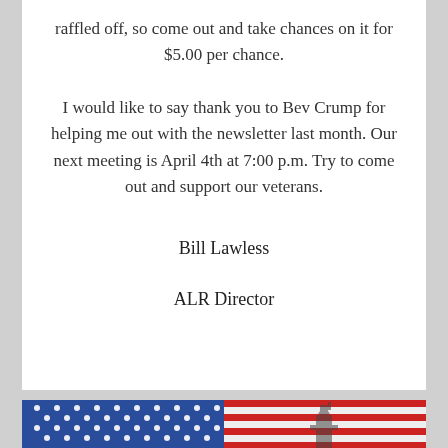raffled off, so come out and take chances on it for $5.00 per chance.
I would like to say thank you to Bev Crump for helping me out with the newsletter last month. Our next meeting is April 4th at 7:00 p.m. Try to come out and support our veterans.
Bill Lawless
ALR Director
[Figure (photo): American flag and Statue of Liberty composite image]